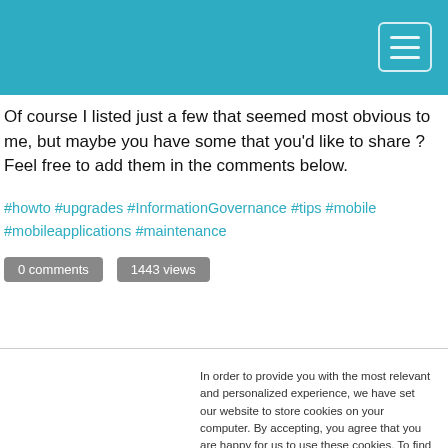Of course I listed just a few that seemed most obvious to me, but maybe you have some that you'd like to share ? Feel free to add them in the comments below.
#howto #upgrades #InformationGovernance #tips #mobile #mobileapplications #maintenance
0 comments   1443 views
In order to provide you with the most relevant and personalized experience, we have set our website to store cookies on your computer. By accepting, you agree that you are happy for us to use these cookies. To find out more about the cookies we use, see our Privacy Policy.